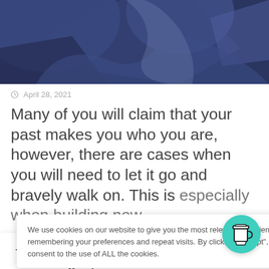[Figure (illustration): Partial illustration with dark navy and blue abstract shapes, cropped at top of page]
April 28, 2021
Many of you will claim that your past makes you who you are, however, there are cases when you will need to let it go and bravely walk on. This is especially when building new
We use cookies on our website to give you the most relevant experience by remembering your preferences and repeat visits. By clicking “Accept”, you consent to the use of ALL the cookies.
Thank you for visiting. You can now buy me a coffee!
[Figure (illustration): Teal/turquoise strip at the bottom of the page]
[Figure (illustration): Teal circular button with a coffee cup icon]